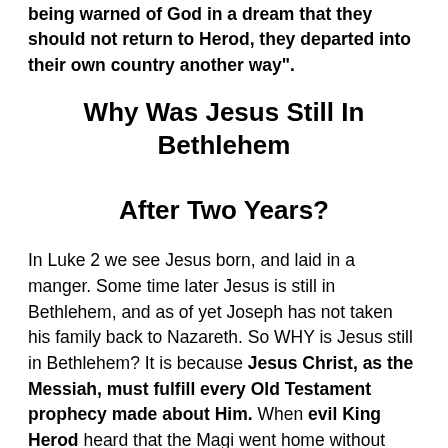being warned of God in a dream that they should not return to Herod, they departed into their own country another way".
Why Was Jesus Still In Bethlehem After Two Years?
In Luke 2 we see Jesus born, and laid in a manger. Some time later Jesus is still in Bethlehem, and as of yet Joseph has not taken his family back to Nazareth. So WHY is Jesus still in Bethlehem? It is because Jesus Christ, as the Messiah, must fulfill every Old Testament prophecy made about Him. When evil King Herod heard that the Magi went home without telling him where Jesus was, we read: